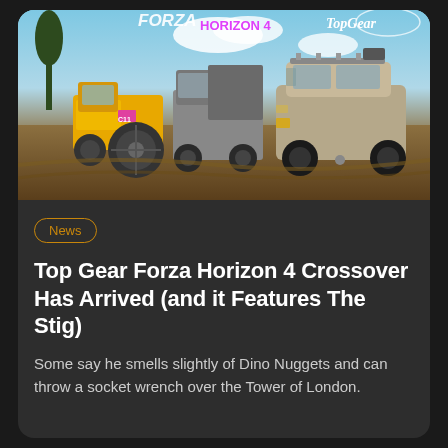[Figure (photo): Forza Horizon 4 and Top Gear crossover promotional image showing a yellow tractor, a truck, and a Mercedes-Benz SUV driving on dirt terrain with logos for Forza Horizon 4 and Top Gear visible at the top.]
News
Top Gear Forza Horizon 4 Crossover Has Arrived (and it Features The Stig)
Some say he smells slightly of Dino Nuggets and can throw a socket wrench over the Tower of London.